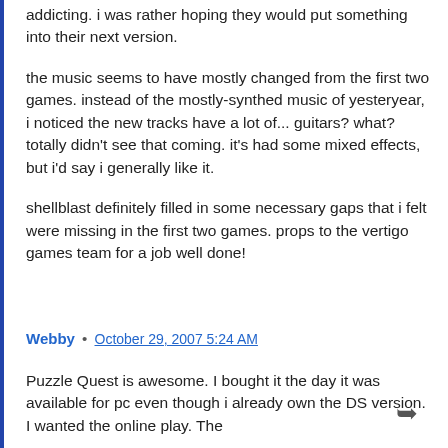addicting. i was rather hoping they would put something into their next version.
the music seems to have mostly changed from the first two games. instead of the mostly-synthed music of yesteryear, i noticed the new tracks have a lot of... guitars? what? totally didn't see that coming. it's had some mixed effects, but i'd say i generally like it.
shellblast definitely filled in some necessary gaps that i felt were missing in the first two games. props to the vertigo games team for a job well done!
Webby • October 29, 2007 5:24 AM
Puzzle Quest is awesome. I bought it the day it was available for pc even though i already own the DS version. I wanted the online play. The